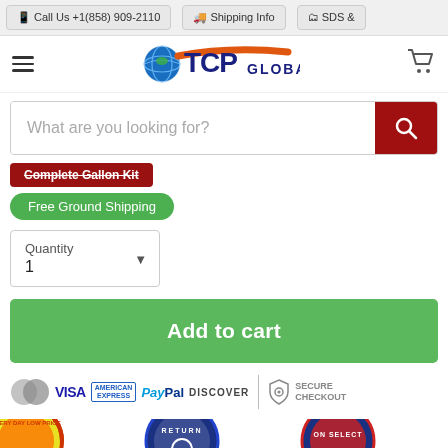📱 Call Us +1(858) 909-2110 | 🚚 Shipping Info | SDS &
[Figure (logo): TCP Global logo with globe icon and orange swoosh]
What are you looking for?
Complete Gallon Kit
Free Ground Shipping
Quantity 1
Add to cart
[Figure (infographic): Payment method icons: MasterCard, VISA, American Express, PayPal, Discover, and Secure Checkout badge]
[Figure (infographic): Three badge icons: Every Day Low Price, Return, On Select]